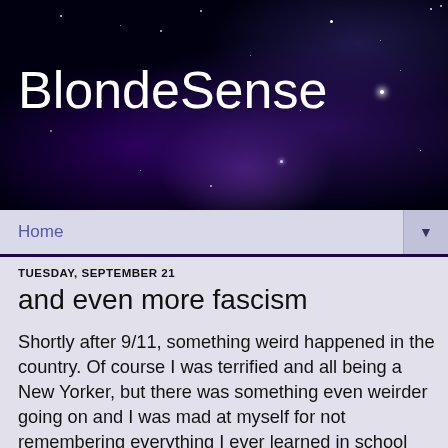BlondeSense
Home
TUESDAY, SEPTEMBER 21
and even more fascism
Shortly after 9/11, something weird happened in the country. Of course I was terrified and all being a New Yorker, but there was something even weirder going on and I was mad at myself for not remembering everything I ever learned in school about history but I remembered enough to do some research on communism, fascism and hitler because something was just not right with the country and I couldn't put my finger on it right away. Sure I was scared of terrorists, but I was even more scared of becoming a prisoner right in my own country. Our own corporate media was holding major discussions on tv daily about giving up our rights to